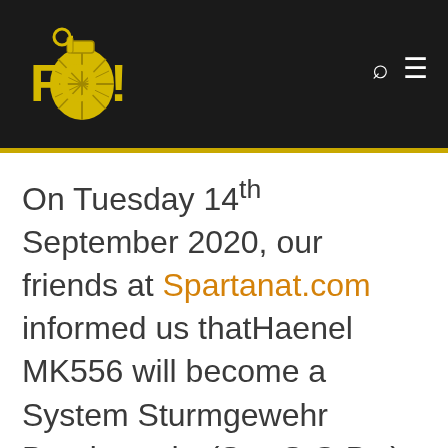FOI logo with navigation icons
On Tuesday 14th September 2020, our friends at Spartanat.com informed us thatHaenel MK556 will become a System Sturmgewehr Bundeswehr (Sys StG Bw) and replace the